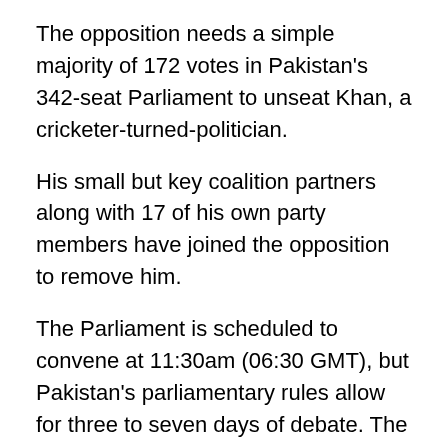The opposition needs a simple majority of 172 votes in Pakistan’s 342-seat Parliament to unseat Khan, a cricketer-turned-politician.
His small but key coalition partners along with 17 of his own party members have joined the opposition to remove him.
The Parliament is scheduled to convene at 11:30am (06:30 GMT), but Pakistan's parliamentary rules allow for three to seven days of debate. The opposition says it has the numbers for an immediate vote, but Khan's party could force a delay.
On Sunday, giant metal containers blocked roads and entrances to the capital's diplomatic enclave, Parliament and other sensitive government installations in the capital.
The PM has accused the opposition of being in cahoots with the United States to unseat him, saying the US wants him gone over his foreign policy choices that